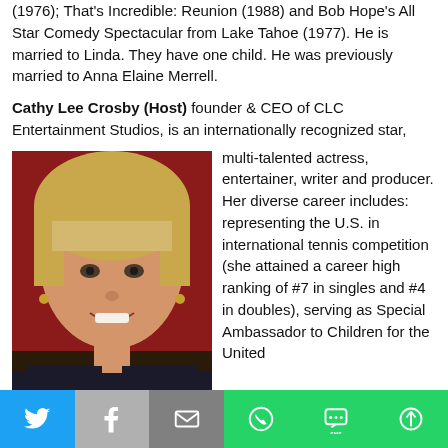(1976); That's Incredible: Reunion (1988) and Bob Hope's All Star Comedy Spectacular from Lake Tahoe (1977). He is married to Linda. They have one child. He was previously married to Anna Elaine Merrell.
Cathy Lee Crosby (Host) founder & CEO of CLC Entertainment Studios, is an internationally recognized star, multi-talented actress, entertainer, writer and producer. Her diverse career includes: representing the U.S. in international tennis competition (she attained a career high ranking of #7 in singles and #4 in doubles), serving as Special Ambassador to Children for the United
[Figure (photo): Photo of Cathy Lee Crosby, a blonde woman smiling at the camera, wearing a dark patterned top, at what appears to be a public event with red decor in the background.]
Twitter | Facebook | Email | WhatsApp | SMS | More